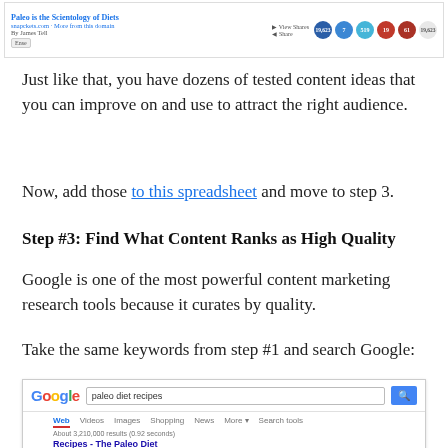[Figure (screenshot): Screenshot of a viral content article 'Paleo is the Scientology of Diets' from snapckets.com with social share counts showing 19,623 Facebook shares, 7 Google+, 519 LinkedIn, 19 Pinterest, 61 other, and 19,623 total.]
Just like that, you have dozens of tested content ideas that you can improve on and use to attract the right audience.
Now, add those to this spreadsheet and move to step 3.
Step #3: Find What Content Ranks as High Quality
Google is one of the most powerful content marketing research tools because it curates by quality.
Take the same keywords from step #1 and search Google:
[Figure (screenshot): Google search results page for 'paleo diet recipes' showing About 3,210,000 results (0.92 seconds) and first result 'Recipes - The Paleo Diet' from paleodiet.com/recipes/]